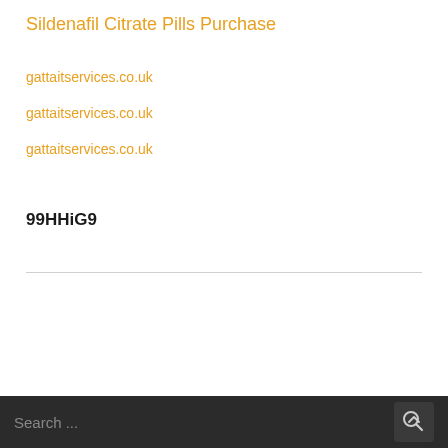Sildenafil Citrate Pills Purchase
gattaitservices.co.uk
gattaitservices.co.uk
gattaitservices.co.uk
99HHiG9
Search ...